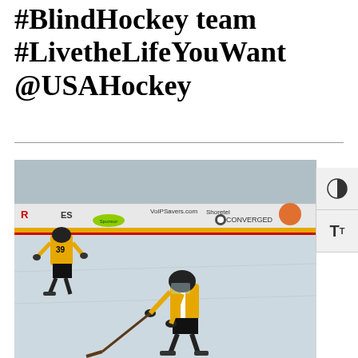#BlindHockey team #LivetheLifeYouWant @USAHockey
[Figure (photo): Two ice hockey players wearing yellow and black jerseys skating on an indoor ice rink. One player with number 39 is in the background, another player in the foreground is bent forward holding a hockey stick. Rink boards show sponsor advertisements including 'CONVERGED' and other logos.]